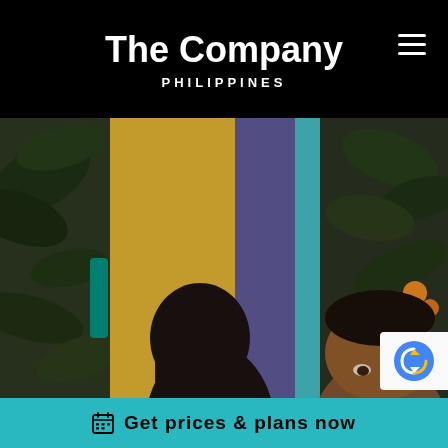The Company PHILIPPINES
[Figure (photo): Blurred photo of two people in an office with colorful painted walls (yellow, purple, teal), green plants visible on sides. Shows tops of two people's heads — one with long dark hair, one with short dark hair.]
Get prices & plans now